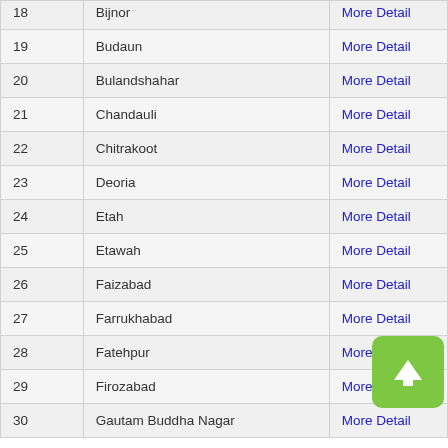| # | District | Link |
| --- | --- | --- |
| 18 | Bijnor | More Detail |
| 19 | Budaun | More Detail |
| 20 | Bulandshahar | More Detail |
| 21 | Chandauli | More Detail |
| 22 | Chitrakoot | More Detail |
| 23 | Deoria | More Detail |
| 24 | Etah | More Detail |
| 25 | Etawah | More Detail |
| 26 | Faizabad | More Detail |
| 27 | Farrukhabad | More Detail |
| 28 | Fatehpur | More Detail |
| 29 | Firozabad | More Detail |
| 30 | Gautam Buddha Nagar | More Detail |